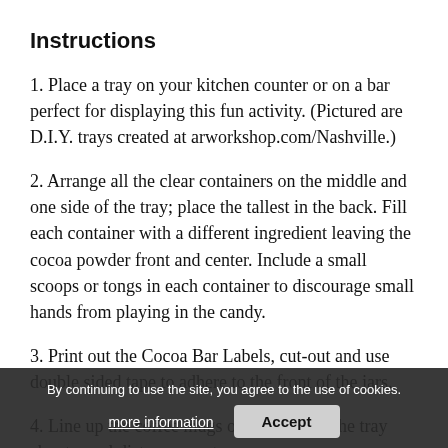Instructions
1. Place a tray on your kitchen counter or on a bar perfect for displaying this fun activity. (Pictured are D.I.Y. trays created at arworkshop.com/Nashville.)
2. Arrange all the clear containers on the middle and one side of the tray; place the tallest in the back. Fill each container with a different ingredient leaving the cocoa powder front and center. Include a small scoops or tongs in each container to discourage small hands from playing in the candy.
3. Print out the Cocoa Bar Labels, cut-out and use double sided tape to adhere to the front of the jars.
4. Line up the coffee mugs on one side of the tray about equal distance apart.
By continuing to use the site, you agree to the use of cookies.